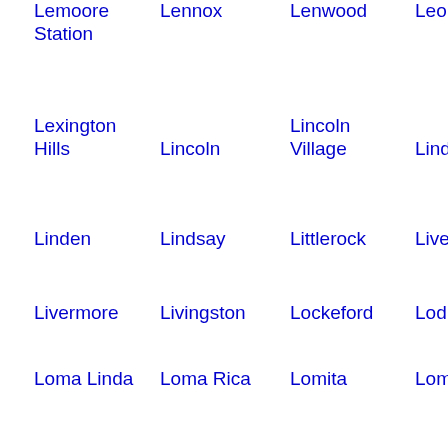Lemoore Station
Lennox
Lenwood
Leon
Lexington Hills
Lincoln
Lincoln Village
Linda
Linden
Lindsay
Littlerock
Live
Livermore
Livingston
Lockeford
Lodi
Loma Linda
Loma Rica
Lomita
Lom
London
Lone Pine
Long Beach
Loom
Los Alamitos
Los Alamos
Los Altos
Los A Hills